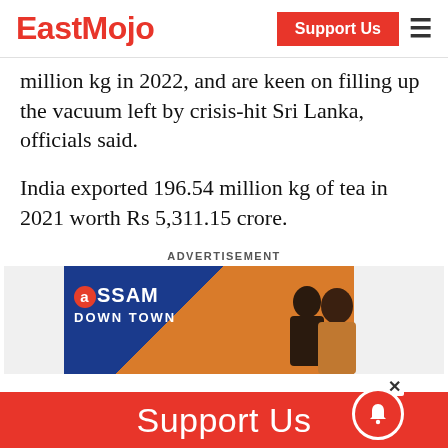EastMojo | Support Us
million kg in 2022, and are keen on filling up the vacuum left by crisis-hit Sri Lanka, officials said.
India exported 196.54 million kg of tea in 2021 worth Rs 5,311.15 crore.
ADVERTISEMENT
[Figure (photo): Assam Down Town University advertisement banner with two female students]
Support Us